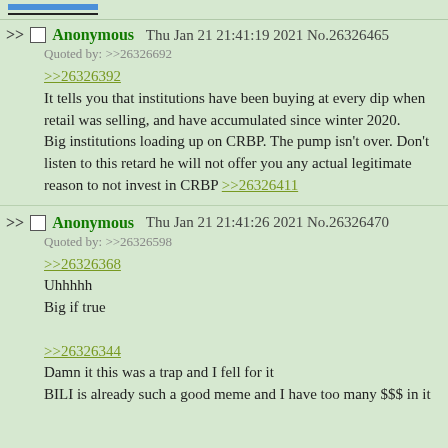[Figure (other): Blue highlighted bar and underline at top of page]
>> Anonymous Thu Jan 21 21:41:19 2021 No.26326465
Quoted by: >>26326692
>>26326392
It tells you that institutions have been buying at every dip when retail was selling, and have accumulated since winter 2020.
Big institutions loading up on CRBP. The pump isn't over. Don't listen to this retard he will not offer you any actual legitimate reason to not invest in CRBP >>26326411
>> Anonymous Thu Jan 21 21:41:26 2021 No.26326470
Quoted by: >>26326598
>>26326368
Uhhhhh
Big if true
>>26326344
Damn it this was a trap and I fell for it
BILI is already such a good meme and I have too many $$$ in it